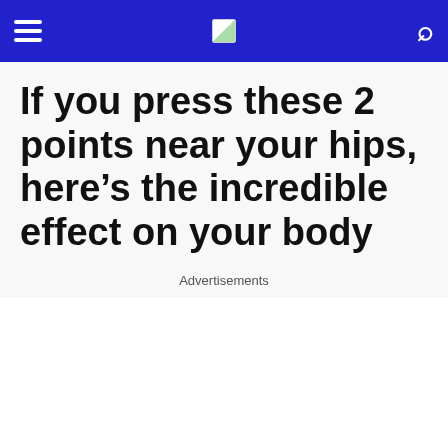Navigation header with hamburger menu, logo, and search icon
If you press these 2 points near your hips, here’s the incredible effect on your body
Advertisements